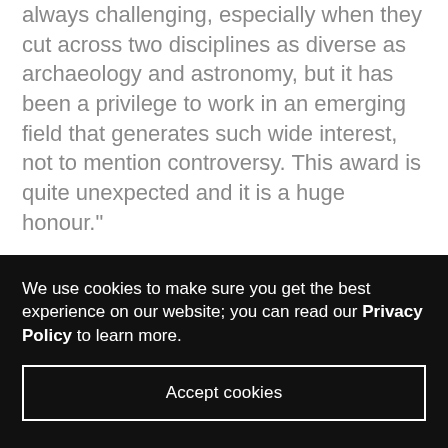always challenging, especially when they cut across two disciplines as diverse as archaeology and astronomy, but it has been a privilege to work in an emerging field that generates such wide interest, not to mention controversy. This award is quite unexpected and it is a huge honour."
The Group Achievement Award for achievement by a large consortium in geophysics has been awarded to SuperDARN. Professor Lester is Chair of the
We use cookies to make sure you get the best experience on our website; you can read our Privacy Policy to learn more.
Accept cookies